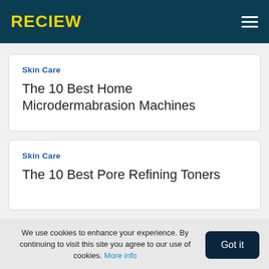RECIEW
Skin Care
The 10 Best Home Microdermabrasion Machines
Skin Care
The 10 Best Pore Refining Toners
We use cookies to enhance your experience. By continuing to visit this site you agree to our use of cookies. More info